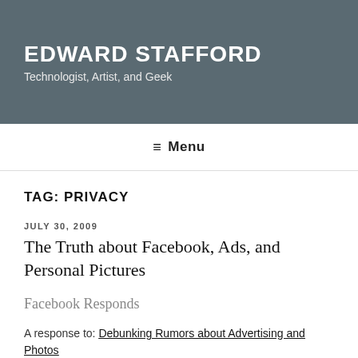EDWARD STAFFORD
Technologist, Artist, and Geek
≡ Menu
TAG: PRIVACY
JULY 30, 2009
The Truth about Facebook, Ads, and Personal Pictures
Facebook Responds
A response to: Debunking Rumors about Advertising and Photos